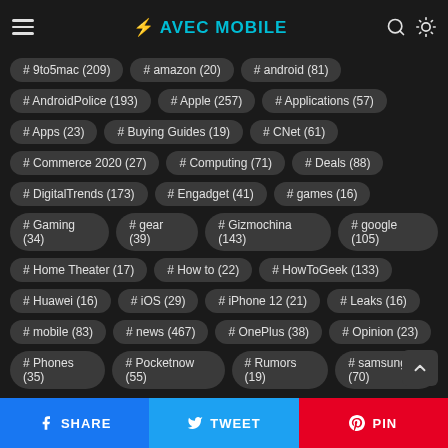☰ AVEC MOBILE 🔍 ☀
# 9to5mac (209)
# amazon (20)
# android (81)
# AndroidPolice (193)
# Apple (257)
# Applications (57)
# Apps (23)
# Buying Guides (19)
# CNet (61)
# Commerce 2020 (27)
# Computing (71)
# Deals (88)
# DigitalTrends (173)
# Engadget (41)
# games (16)
# Gaming (34)
# gear (39)
# Gizmochina (143)
# google (105)
# Home Theater (17)
# How to (22)
# HowToGeek (133)
# Huawei (16)
# iOS (29)
# iPhone 12 (21)
# Leaks (16)
# mobile (83)
# news (467)
# OnePlus (38)
# Opinion (23)
# Phones (35)
# Pocketnow (55)
# Rumors (19)
# samsung (70)
# Smart Home (22)
# TechCrunch (20)
# Tech News (80)
# Tier 4 (30)
# Tips & Tutorials (16)
# TrustedReviews (108)
SHARE  TWEET  PIN